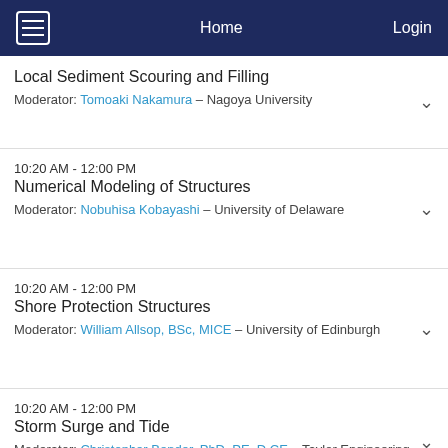Home | Login
Local Sediment Scouring and Filling
Moderator: Tomoaki Nakamura – Nagoya University
10:20 AM - 12:00 PM
Numerical Modeling of Structures
Moderator: Nobuhisa Kobayashi – University of Delaware
10:20 AM - 12:00 PM
Shore Protection Structures
Moderator: William Allsop, BSc, MICE – University of Edinburgh
10:20 AM - 12:00 PM
Storm Surge and Tide
Moderator: Christopher Bender, PhD, PE, D.CE – Taylor Engineering, Inc
10:20 AM - 12:00 PM
Tsunami Impact on Wall